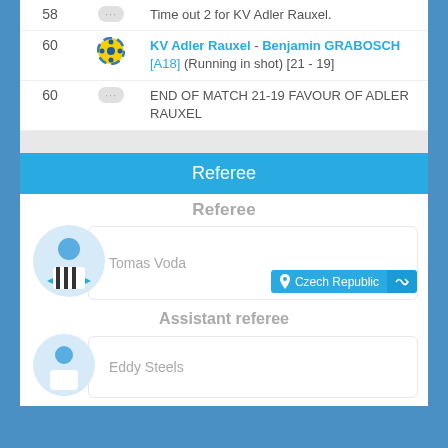| Minute | Icon | Event |
| --- | --- | --- |
| 58 | ··· | Time out 2 for KV Adler Rauxel. |
| 60 | ⚽ | KV Adler Rauxel - Benjamin GRABOSCH [A18] (Running in shot) [21 - 19] |
| 60 | ··· | END OF MATCH 21-19 FAVOUR OF ADLER RAUXEL |
Referee
Referee
Tomas Voda
Czech Republic
Assistant referee
Eddy Steels